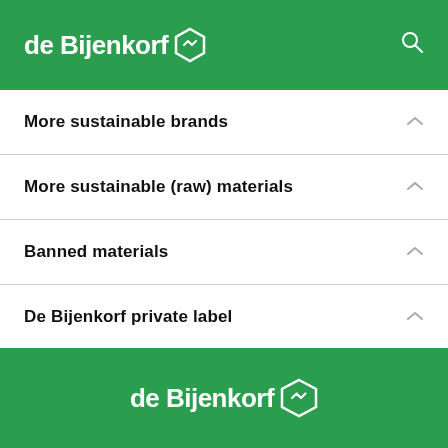de Bijenkorf
More sustainable brands
More sustainable (raw) materials
Banned materials
De Bijenkorf private label
de Bijenkorf